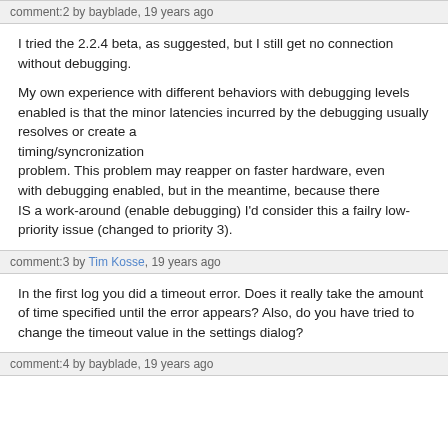comment:2 by bayblade, 19 years ago
I tried the 2.2.4 beta, as suggested, but I still get no connection without debugging.

My own experience with different behaviors with debugging levels enabled is that the minor latencies incurred by the debugging usually resolves or create a timing/syncronization
problem. This problem may reapper on faster hardware, even
with debugging enabled, but in the meantime, because there
IS a work-around (enable debugging) I'd consider this a failry low-priority issue (changed to priority 3).
comment:3 by Tim Kosse, 19 years ago
In the first log you did a timeout error. Does it really take the amount of time specified until the error appears? Also, do you have tried to change the timeout value in the settings dialog?
comment:4 by bayblade, 19 years ago